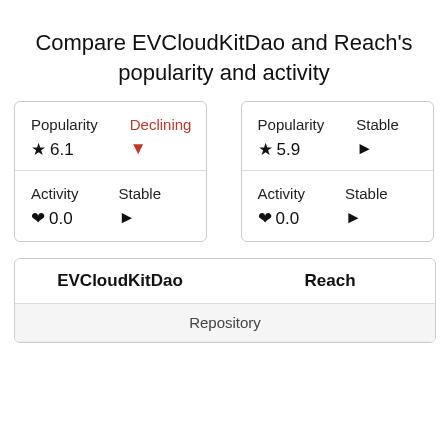Compare EVCloudKitDao and Reach's popularity and activity
[Figure (infographic): Two side-by-side cards. Left card: Popularity / Declining / star 6.1 / red down arrow; Activity / Stable / heart 0.0 / black right arrow. Right card: Popularity / Stable / star 5.9 / black right arrow; Activity / Stable / heart 0.0 / black right arrow.]
| EVCloudKitDao | Reach |
| --- | --- |
| Repository | Repository |